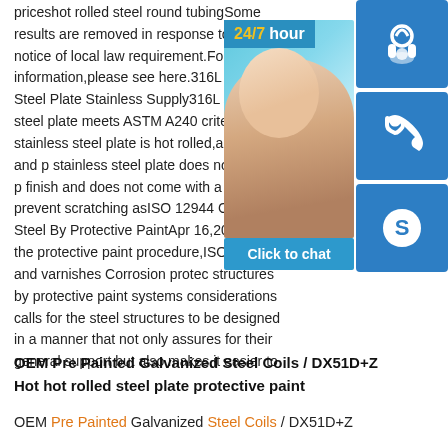priceshot rolled steel round tubingSome results are removed in response to a notice of local law requirement.For more information,please see here.316L Stainless Steel Plate Stainless Supply316L stainless steel plate meets ASTM A240 criteria.Our stainless steel plate is hot rolled,annealed and p… stainless steel plate does not have a p… finish and does not come with a prote… prevent scratching asISO 12944 Corro… Steel By Protective PaintApr 16,2020·A… in the protective paint procedure,ISO 1… Paints and varnishes Corrosion prote… structures by protective paint systems … considerations calls for the steel structures to be designed in a manner that not only assures for their general support but also makes it easier to
[Figure (infographic): Customer service widget overlay showing a 24/7 hour badge, a blurred photo of a smiling woman with headset, three blue icon buttons (headset, phone, Skype/chat), and a 'Click to chat' bar]
OEM Pre Painted Galvanized Steel Coils / DX51D+Z Hot hot rolled steel plate protective paint
OEM Pre Painted Galvanized Steel Coils / DX51D+Z